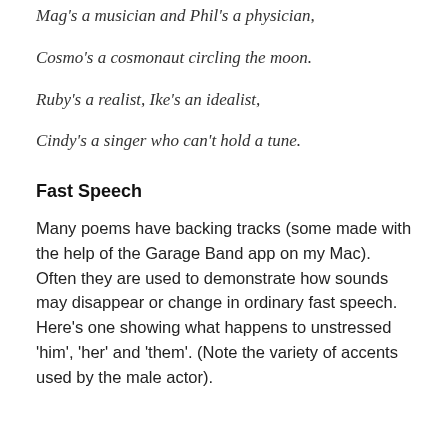Mag's a musician and Phil's a physician,
Cosmo's a cosmonaut circling the moon.
Ruby's a realist, Ike's an idealist,
Cindy's a singer who can't hold a tune.
Fast Speech
Many poems have backing tracks (some made with the help of the Garage Band app on my Mac). Often they are used to demonstrate how sounds may disappear or change in ordinary fast speech. Here's one showing what happens to unstressed 'him', 'her' and 'them'. (Note the variety of accents used by the male actor).